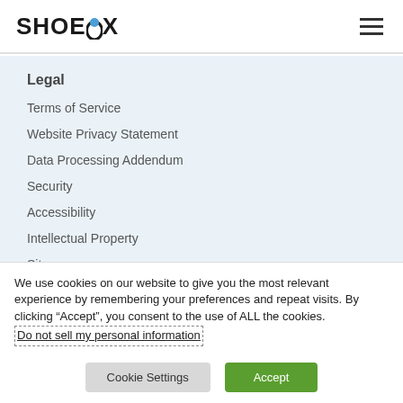SHOEBOX
Legal
Terms of Service
Website Privacy Statement
Data Processing Addendum
Security
Accessibility
Intellectual Property
Sitemap
We use cookies on our website to give you the most relevant experience by remembering your preferences and repeat visits. By clicking “Accept”, you consent to the use of ALL the cookies. Do not sell my personal information
Cookie Settings  Accept